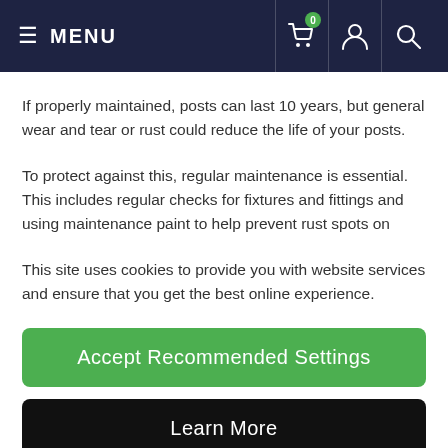≡ MENU
If properly maintained, posts can last 10 years, but general wear and tear or rust could reduce the life of your posts.
To protect against this, regular maintenance is essential. This includes regular checks for fixtures and fittings and using maintenance paint to help prevent rust spots on
This site uses cookies to provide you with website services and ensure that you get the best online experience.
Accept Recommended Settings
Learn More